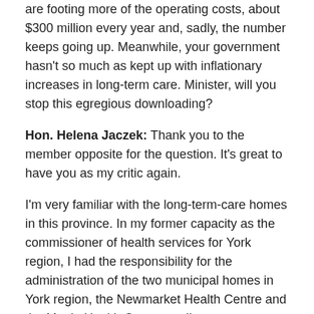are footing more of the operating costs, about $300 million every year and, sadly, the number keeps going up. Meanwhile, your government hasn't so much as kept up with inflationary increases in long-term care. Minister, will you stop this egregious downloading?
Hon. Helena Jaczek: Thank you to the member opposite for the question. It's great to have you as my critic again.
I'm very familiar with the long-term-care homes in this province. In my former capacity as the commissioner of health services for York region, I had the responsibility for the administration of the two municipal homes in York region, the Newmarket Health Centre and the Maple Health Centre, so I'm very conscious of the issue of long-term-care funding.
1050
Of course, our government has been increasing funding, in really quite a dramatic way, over the last number of years.